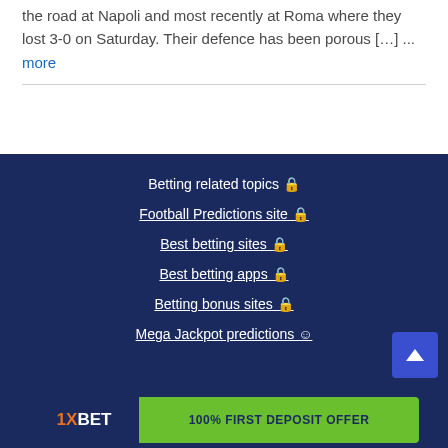home to Torino and Guingese, as well as on the road at Napoli and most recently at Roma where they lost 3-0 on Saturday. Their defence has been porous […] ... more
Betting related topics 🔒
Football Predictions site 🔒
Best betting sites 🔒
Best betting apps 🔒
Betting bonus sites 🔒
Mega Jackpot predictions ☺
[Figure (infographic): 1XBET 100% FIRST DEPOSIT OFFER advertisement banner in green and dark blue]